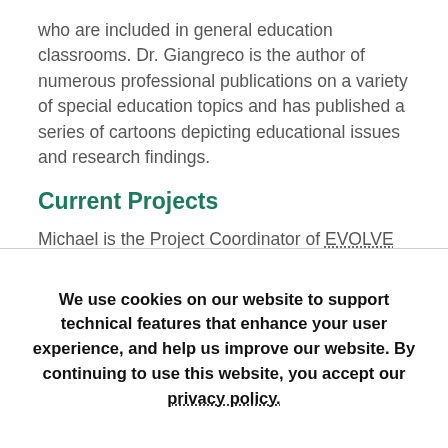who are included in general education classrooms. Dr. Giangreco is the author of numerous professional publications on a variety of special education topics and has published a series of cartoons depicting educational issues and research findings.
Current Projects
Michael is the Project Coordinator of EVOLVE Plus, which offers school-based research, training, technical
We use cookies on our website to support technical features that enhance your user experience, and help us improve our website. By continuing to use this website, you accept our privacy policy.